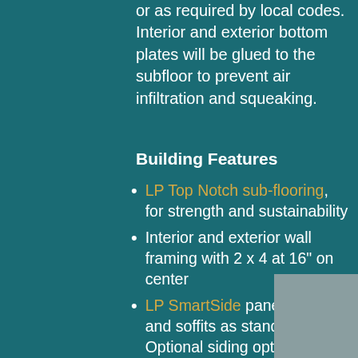or as required by local codes. Interior and exterior bottom plates will be glued to the subfloor to prevent air infiltration and squeaking.
Building Features
LP Top Notch sub-flooring, for strength and sustainability
Interior and exterior wall framing with 2 x 4 at 16" on center
LP SmartSide panel siding and soffits as standard. Optional siding options include vinyl, pine and stained